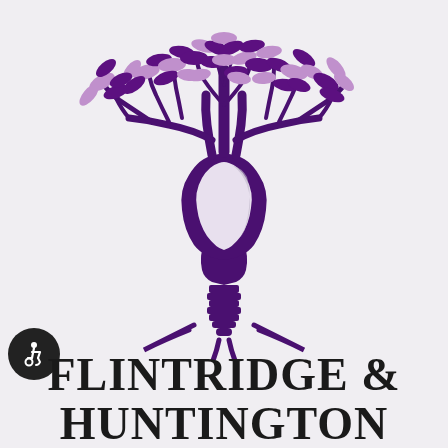[Figure (logo): A dental implant tree logo: a tooth implant (with screw base) forms the trunk of a tree, with purple branches and leaves (dark purple and light purple/mauve) spreading out above. The tree canopy is made of stylized oval leaves.]
FLINTRIDGE & HUNTINGTON